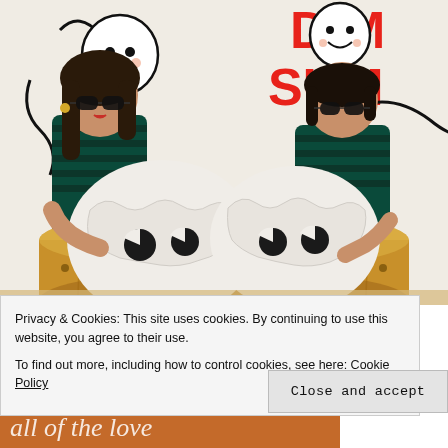[Figure (photo): Two women wearing matching dark green striped shirts and sunglasses standing behind a large wooden steamer basket filled with giant white dumpling plush toys with cartoon eyes. The wall behind them features a cartoon mural with smiling dumpling characters and red text reading 'DIM SUM'.]
Privacy & Cookies: This site uses cookies. By continuing to use this website, you agree to their use.
To find out more, including how to control cookies, see here: Cookie Policy
Close and accept
[Figure (photo): Partial bottom image showing orange/brown background with cursive white text, partially visible.]